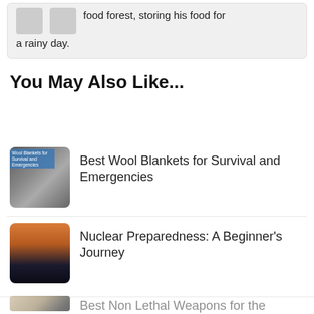food forest, storing his food for a rainy day.
You May Also Like...
Best Wool Blankets for Survival and Emergencies
[Figure (photo): Thumbnail image for wool blankets article with overlay text 'Wool Blankets for Survival and Emergencies']
Nuclear Preparedness: A Beginner's Journey
[Figure (photo): Thumbnail image showing a dark landscape with orange sky, nuclear preparedness article]
Best Non Lethal Weapons for the Prepared Individual
[Figure (photo): Thumbnail image showing a hand holding a flashlight/weapon device with blue light]
Why Bargaining Stockpiling is Not Emergency